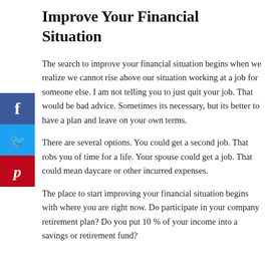Improve Your Financial Situation
The search to improve your financial situation begins when we realize we cannot rise above our situation working at a job for someone else. I am not telling you to just quit your job. That would be bad advice. Sometimes its necessary, but its better to have a plan and leave on your own terms.
There are several options. You could get a second job. That robs you of time for a life. Your spouse could get a job. That could mean daycare or other incurred expenses.
The place to start improving your financial situation begins with where you are right now. Do participate in your company retirement plan? Do you put 10 % of your income into a savings or retirement fund?